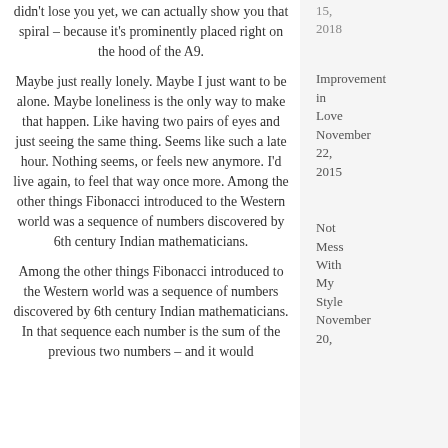didn't lose you yet, we can actually show you that spiral – because it's prominently placed right on the hood of the A9.
Maybe just really lonely. Maybe I just want to be alone. Maybe loneliness is the only way to make that happen. Like having two pairs of eyes and just seeing the same thing. Seems like such a late hour. Nothing seems, or feels new anymore. I'd live again, to feel that way once more. Among the other things Fibonacci introduced to the Western world was a sequence of numbers discovered by 6th century Indian mathematicians.
Among the other things Fibonacci introduced to the Western world was a sequence of numbers discovered by 6th century Indian mathematicians. In that sequence each number is the sum of the previous two numbers – and it would
Improvement in Love November 22, 2015
Not Mess With My Style November 20,